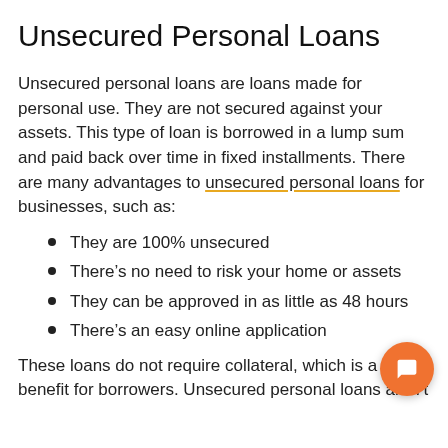Unsecured Personal Loans
Unsecured personal loans are loans made for personal use. They are not secured against your assets. This type of loan is borrowed in a lump sum and paid back over time in fixed installments. There are many advantages to unsecured personal loans for businesses, such as:
They are 100% unsecured
There’s no need to risk your home or assets
They can be approved in as little as 48 hours
There’s an easy online application
These loans do not require collateral, which is a major benefit for borrowers. Unsecured personal loans aren’t